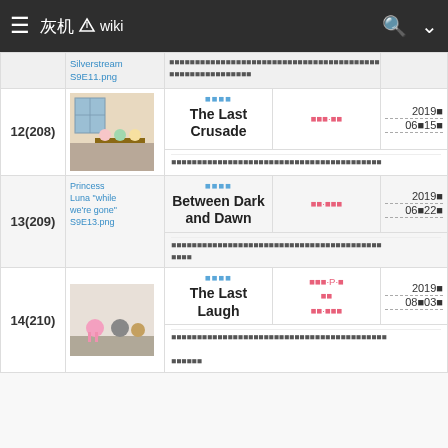灰机wiki
| 集数 | 图片 | 标题/剧情 | 编剧 | 首播日期 |
| --- | --- | --- | --- | --- |
|  | Silverstream S9E11.png | （中文描述文字） |  |  |
| 12(208) | [图片] | 卡通主题 / The Last Crusade / 编剧·编剧 | 2019年06月15日 |  |
|  |  | （中文剧情简介） |  |  |
| 13(209) | Princess Luna "while we're gone" S9E13.png | 卡通主题 / Between Dark and Dawn / 编剧·编剧 | 2019年06月22日 |  |
|  |  | （中文剧情简介） |  |  |
| 14(210) | [图片] | 卡通主题 / The Last Laugh / 编剧·P·编 / 编剧·编剧 | 2019年08月03日 |  |
|  |  | （中文剧情简介） |  |  |